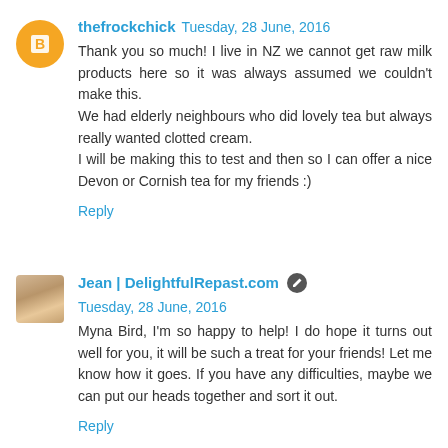thefrockchick  Tuesday, 28 June, 2016
Thank you so much! I live in NZ we cannot get raw milk products here so it was always assumed we couldn't make this.
We had elderly neighbours who did lovely tea but always really wanted clotted cream.
I will be making this to test and then so I can offer a nice Devon or Cornish tea for my friends :)
Reply
Jean | DelightfulRepast.com  Tuesday, 28 June, 2016
Myna Bird, I'm so happy to help! I do hope it turns out well for you, it will be such a treat for your friends! Let me know how it goes. If you have any difficulties, maybe we can put our heads together and sort it out.
Reply